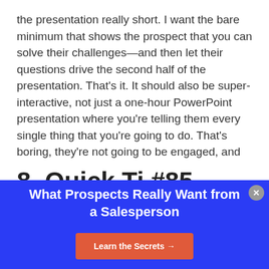the presentation really short. I want the bare minimum that shows the prospect that you can solve their challenges—and then let their questions drive the second half of the presentation. That's it. It should also be super-interactive, not just a one-hour PowerPoint presentation where you're telling them every single thing that you're going to do. That's boring, they're not going to be engaged, and you're not going to close as many sales.
[Figure (screenshot): Promotional banner overlay with blue background. Title: 'What Prospects Really Want from a Salesperson'. Red CTA button: 'Learn the Secrets →'. Close button (x) in top right.]